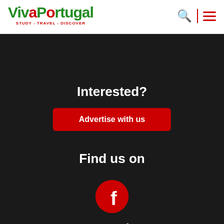VivaPortugal — STUDY - TRAVEL - DISCOVER
Interested?
Advertise with us
Find us on
[Figure (logo): Facebook logo icon — red circle with white letter f]
Search
Enter the terms you wish to search for
Go